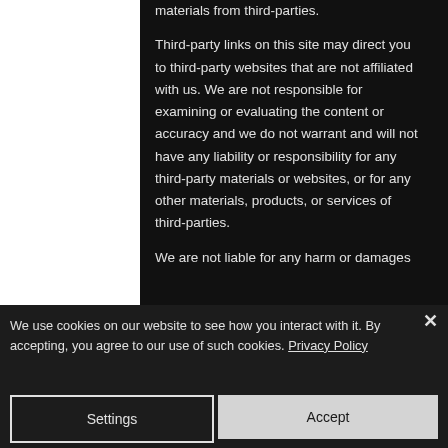materials from third-parties. Third-party links on this site may direct you to third-party websites that are not affiliated with us. We are not responsible for examining or evaluating the content or accuracy and we do not warrant and will not have any liability or responsibility for any third-party materials or websites, or for any other materials, products, or services of third-parties. We are not liable for any harm or damages
We use cookies on our website to see how you interact with it. By accepting, you agree to our use of such cookies. Privacy Policy